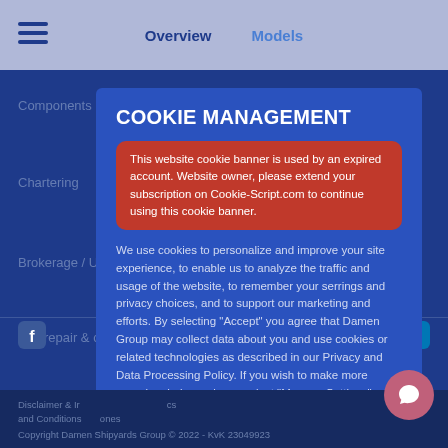Overview  Models
Components
Chartering
Brokerage / Use
Shiprepair & co
Subscribe to ne
COOKIE MANAGEMENT
This website cookie banner is used by an expired account. Website owner, please extend your subscription on Cookie-Script.com to continue using this cookie banner.
We use cookies to personalize and improve your site experience, to enable us to analyze the traffic and usage of the website, to remember your serrings and privacy choices, and to support our marketing and efforts. By selecting "Accept" you agree that Damen Group may collect data about you and use cookies or related technologies as described in our Privacy and Data Processing Policy. If you wish to make more granular choices, please select "Manage Settings" Privacy and Data Processing Policy
Accept all cookies
Disclaimer & Ir and Conditions  Copyright Damen Shipyards Group © 2022 - KvK 23049923